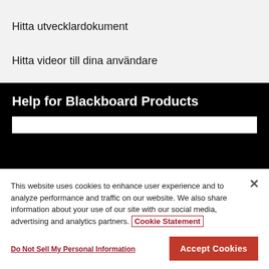Hitta utvecklardokument
Hitta videor till dina användare
Help for Blackboard Products
This website uses cookies to enhance user experience and to analyze performance and traffic on our website. We also share information about your use of our site with our social media, advertising and analytics partners. Cookie Statement
Do Not Sell My Personal Information
Accept Cookies